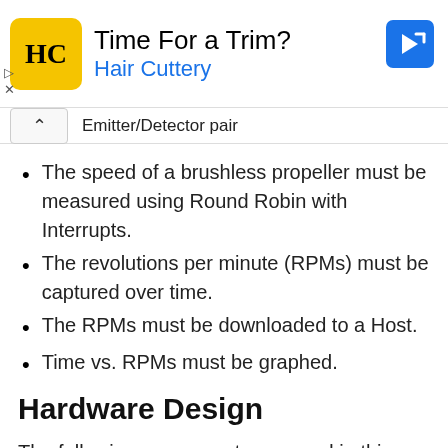[Figure (other): Advertisement banner for Hair Cuttery with yellow logo, title 'Time For a Trim?' and blue subtitle 'Hair Cuttery', with a blue navigation arrow icon on the right.]
Emitter/Detector pair
The speed of a brushless propeller must be measured using Round Robin with Interrupts.
The revolutions per minute (RPMs) must be captured over time.
The RPMs must be downloaded to a Host.
Time vs. RPMs must be graphed.
Hardware Design
The following components are used in this project. You will need: